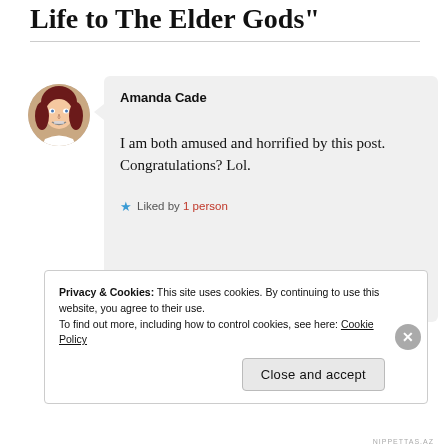Life to The Elder Gods"
Amanda Cade
I am both amused and horrified by this post. Congratulations? Lol.
Liked by 1 person
Privacy & Cookies: This site uses cookies. By continuing to use this website, you agree to their use.
To find out more, including how to control cookies, see here: Cookie Policy
Close and accept